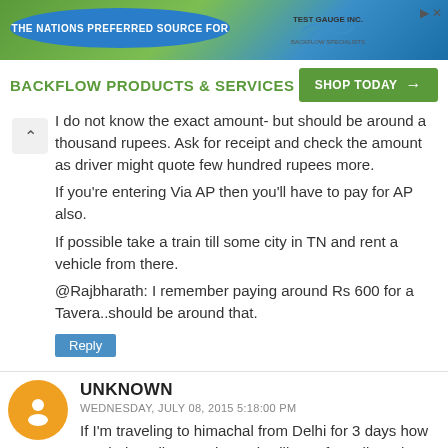[Figure (screenshot): Advertisement banner for Test Gauge Inc. - Backflow Products & Services with Shop Today button]
I do not know the exact amount- but should be around a thousand rupees. Ask for receipt and check the amount as driver might quote few hundred rupees more.

If you're entering Via AP then you'll have to pay for AP also.

If possible take a train till some city in TN and rent a vehicle from there.

@Rajbharath: I remember paying around Rs 600 for a Tavera..should be around that.
UNKNOWN
WEDNESDAY, JULY 08, 2015 5:18:00 PM
If I'm traveling to himachal from Delhi for 3 days how much the toll tax and permit will cost for yellow plate .tell me anyone asap